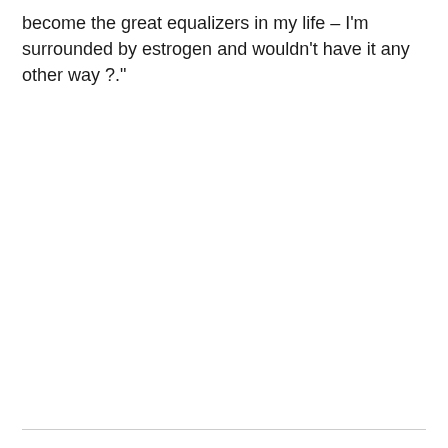become the great equalizers in my life – I'm surrounded by estrogen and wouldn't have it any other way ?."